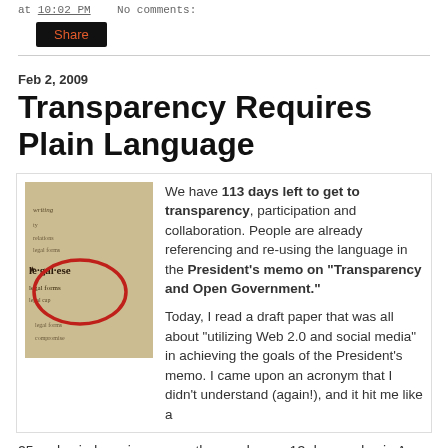at 10:02 PM   No comments:
Share
Feb 2, 2009
Transparency Requires Plain Language
[Figure (photo): Close-up of a dictionary page showing the entry for 'legalese' circled in red ink]
We have 113 days left to get to transparency, participation and collaboration. People are already referencing and re-using the language in the President's memo on "Transparency and Open Government."

Today, I read a draft paper that was all about "utilizing Web 2.0 and social media" in achieving the goals of the President's memo. I came upon an acronym that I didn't understand (again!), and it hit me like a 25 mph wind coming across the quad on a -13 degree day in Ann Arbor.